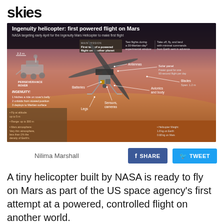skies
[Figure (infographic): Ingenuity helicopter first powered flight on Mars infographic. Shows NASA Perseverance Rover (2.2m scale), Ingenuity helicopter with labeled parts: Antennas, Solar panel (power good for one 90-second flight per day), Blades (Span: 1.2m), Batteries, Avionics and body, Sensors/cameras, Legs. Main mission: First test of a powered flight on another planet. Test flights during a 30-Martian-day experimental window. Take off, fly, and land with minimal commands from Earth sent in advance. Ingenuity steps: 1 hitches a ride on rover's belly, 2 unfolds from stowed position, 3 deploys to Martian surface. Stats: Fly at altitude up to 5m, Range up to 300m, Mars atmosphere: Very thin atmosphere, less than 1% the density of Earth's, Helicopter Weight: 1.8 kg on Earth, 0.68 kg on Mars.]
Ingenuity helicopter: first powered flight on Mars — NASA targeting early April for the Ingenuity Mars Helicopter to make first flight
Nilima Marshall
A tiny helicopter built by NASA is ready to fly on Mars as part of the US space agency's first attempt at a powered, controlled flight on another world.